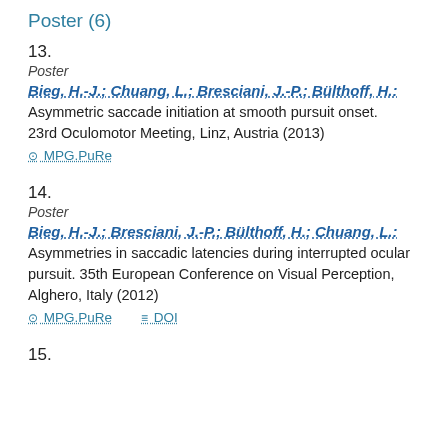Poster (6)
13.
Poster
Bieg, H.-J.; Chuang, L.; Bresciani, J.-P.; Bülthoff, H.:
Asymmetric saccade initiation at smooth pursuit onset. 23rd Oculomotor Meeting, Linz, Austria (2013)
MPG.PuRe
14.
Poster
Bieg, H.-J.; Bresciani, J.-P.; Bülthoff, H.; Chuang, L.:
Asymmetries in saccadic latencies during interrupted ocular pursuit. 35th European Conference on Visual Perception, Alghero, Italy (2012)
MPG.PuRe   DOI
15.